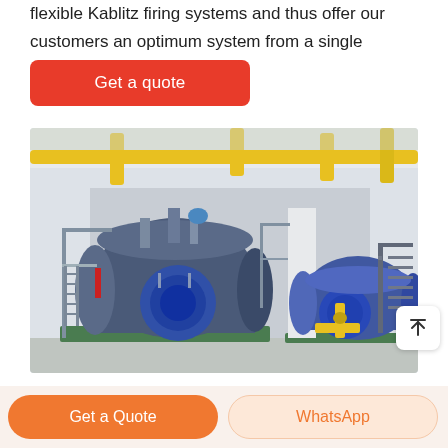flexible Kablitz firing systems and thus offer our customers an optimum system from a single source.
[Figure (other): Red 'Get a quote' button with rounded corners on white background]
[Figure (photo): Industrial boiler room with large blue horizontal boilers on green platforms, yellow gas pipes overhead, black metal staircases, in a white facility]
[Figure (other): Bottom bar with orange 'Get a Quote' button and light orange 'WhatsApp' button]